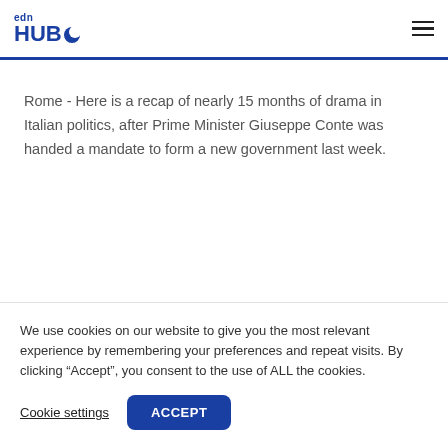edn HUB
Rome - Here is a recap of nearly 15 months of drama in Italian politics, after Prime Minister Giuseppe Conte was handed a mandate to form a new government last week.
- Populist coalition -
We use cookies on our website to give you the most relevant experience by remembering your preferences and repeat visits. By clicking “Accept”, you consent to the use of ALL the cookies.